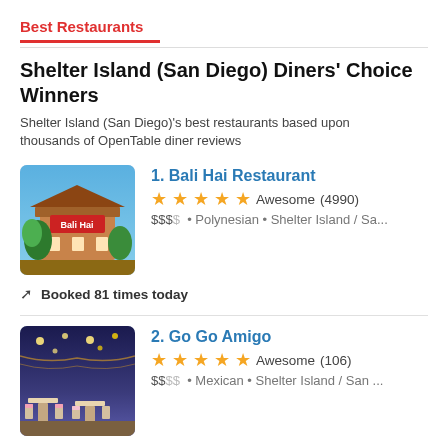Best Restaurants
Shelter Island (San Diego) Diners' Choice Winners
Shelter Island (San Diego)'s best restaurants based upon thousands of OpenTable diner reviews
1. Bali Hai Restaurant
★★★★½  Awesome  (4990)
$$$$  •  Polynesian  •  Shelter Island / Sa...
Booked 81 times today
2. Go Go Amigo
★★★★½  Awesome  (106)
$$$$  •  Mexican  •  Shelter Island / San ...
Booked 29 times today